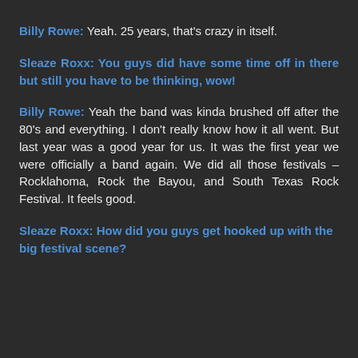Billy Rowe: Yeah. 25 years, that's crazy in itself.
Sleaze Roxx: You guys did have some time off in there but still you have to be thinking, wow!
Billy Rowe: Yeah the band was kinda brushed off after the 80's and everything. I don't really know how it all went. But last year was a good year for us. It was the first year we were officially a band again. We did all those festivals – Rocklahoma, Rock the Bayou, and South Texas Rock Festival. It feels good.
Sleaze Roxx: How did you guys get hooked up with the big festival scene?